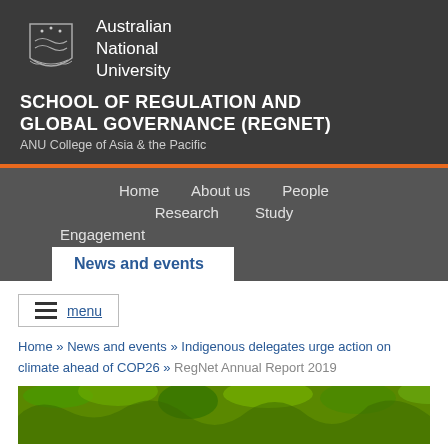[Figure (logo): Australian National University crest/logo with shield and waves]
Australian
National
University
SCHOOL OF REGULATION AND GLOBAL GOVERNANCE (REGNET)
ANU College of Asia & the Pacific
Home   About us   People   Research   Study   Engagement
News and events
menu
Home » News and events » Indigenous delegates urge action on climate ahead of COP26 » RegNet Annual Report 2019
[Figure (photo): Green tropical foliage background image]